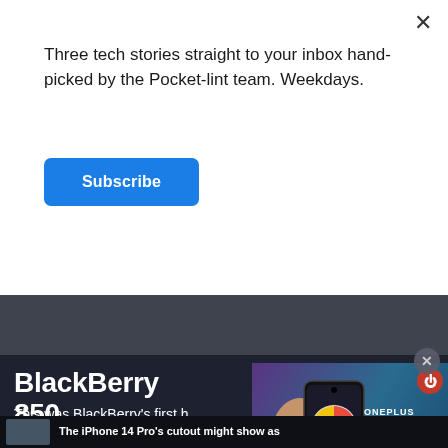Three tech stories straight to your inbox hand-picked by the Pocket-lint team. Weekdays.
Subscribe
BlackBerry 850
[Figure (screenshot): OnePlus Tips video thumbnail showing a hand holding a OnePlus phone with a colorful wheel on the screen, with play button overlay and ONEPLUS TIPS text]
This was BlackBerry's first h... sat within the two-way pager category, along with a few others including the 857, 900, 950, 957 and 962.
The iPhone 14 Pro's cutout might show as